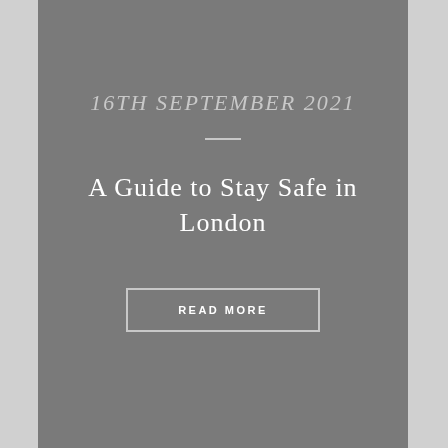16TH SEPTEMBER 2021
A Guide to Stay Safe in London
READ MORE